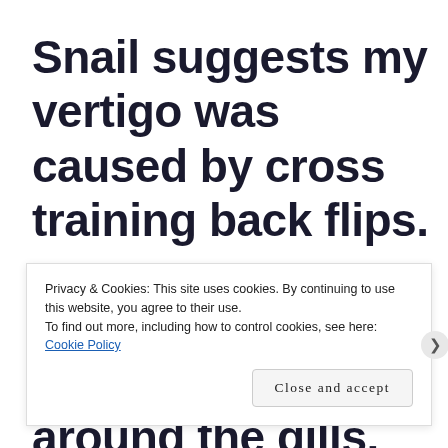Snail suggests my vertigo was caused by cross training back flips. I finally get the meaning of green around the gills.
Privacy & Cookies: This site uses cookies. By continuing to use this website, you agree to their use. To find out more, including how to control cookies, see here: Cookie Policy
Close and accept